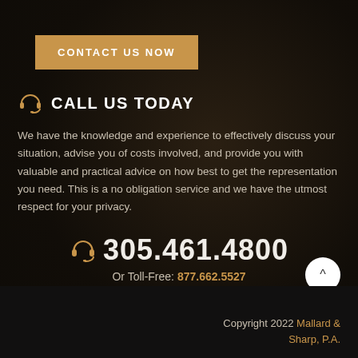CONTACT US NOW
CALL US TODAY
We have the knowledge and experience to effectively discuss your situation, advise you of costs involved, and provide you with valuable and practical advice on how best to get the representation you need. This is a no obligation service and we have the utmost respect for your privacy.
305.461.4800
Or Toll-Free: 877.662.5527
Copyright 2022 Mallard & Sharp, P.A.